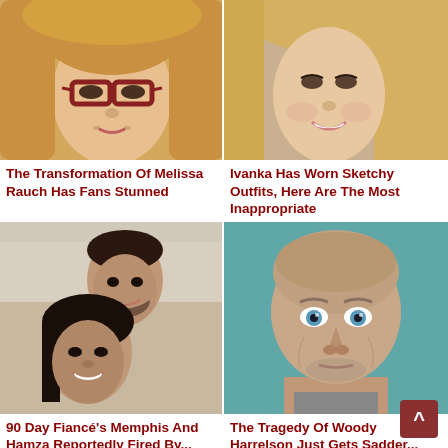[Figure (photo): Portrait photo of Melissa Rauch, blonde woman with red-framed glasses]
The Transformation Of Melissa Rauch Has Fans Stunned
[Figure (photo): Portrait photo of Ivanka Trump, blonde woman smiling]
Ivanka Has Worn Sketchy Outfits, Here Are The Most Inappropriate
[Figure (photo): Photo of 90 Day Fiancé couple, man and woman smiling together outdoors]
90 Day Fiancé's Memphis And Hamza Reportedly Fired By...
[Figure (photo): Portrait photo of Woody Harrelson, bald man with blue eyes against teal background]
The Tragedy Of Woody Harrelson Just Gets Sadder...